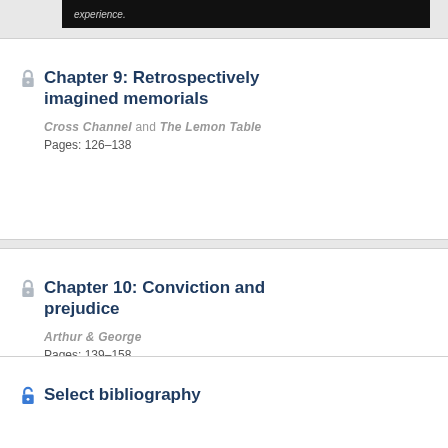Chapter 9: Retrospectively imagined memorials
Cross Channel and The Lemon Table
Pages: 126–138
Chapter 10: Conviction and prejudice
Arthur & George
Pages: 139–158
Select bibliography